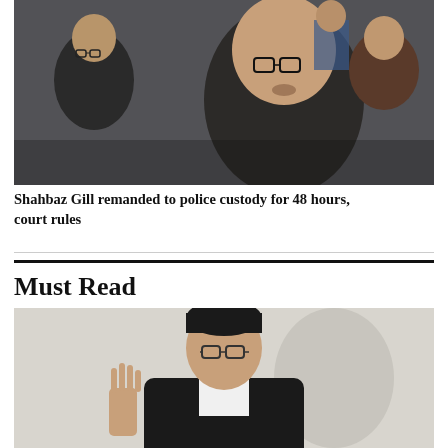[Figure (photo): Group of men in a crowd, one wearing glasses looking forward, another in suit to the left, a person in blue uniform visible in the background]
Shahbaz Gill remanded to police custody for 48 hours, court rules
Must Read
[Figure (photo): Man in black blazer and white shirt with glasses, standing in front of a light-colored wall, raising his right hand]